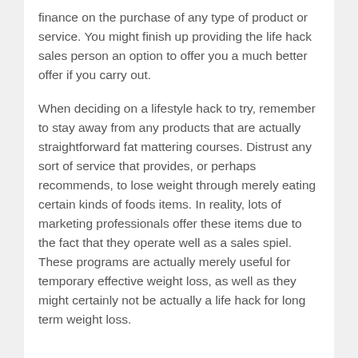finance on the purchase of any type of product or service. You might finish up providing the life hack sales person an option to offer you a much better offer if you carry out.
When deciding on a lifestyle hack to try, remember to stay away from any products that are actually straightforward fat mattering courses. Distrust any sort of service that provides, or perhaps recommends, to lose weight through merely eating certain kinds of foods items. In reality, lots of marketing professionals offer these items due to the fact that they operate well as a sales spiel. These programs are actually merely useful for temporary effective weight loss, as well as they might certainly not be actually a life hack for long term weight loss.